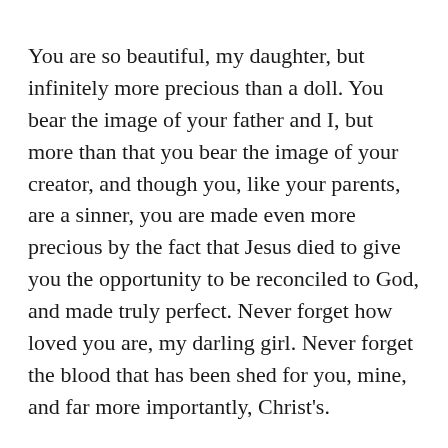You are so beautiful, my daughter, but infinitely more precious than a doll. You bear the image of your father and I, but more than that you bear the image of your creator, and though you, like your parents, are a sinner, you are made even more precious by the fact that Jesus died to give you the opportunity to be reconciled to God, and made truly perfect. Never forget how loved you are, my darling girl. Never forget the blood that has been shed for you, mine, and far more importantly, Christ's.
You are valued by an infinite God, and he calls you to love and serve him all your days. Do it with joy, my darling, because you know that he cares for you, enough to give himself on a cross, enough to endure the wrath of God on your behalf, enough to take the punishment that you deserved for your wrongdoing. Jesus became accursed for your sake